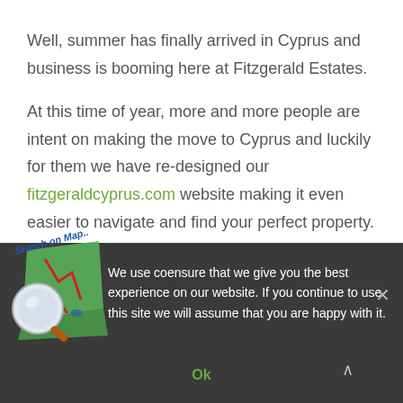Well, summer has finally arrived in Cyprus and business is booming here at Fitzgerald Estates.
At this time of year, more and more people are intent on making the move to Cyprus and luckily for them we have re-designed our fitzgeraldcyprus.com website making it even easier to navigate and find your perfect property.
Our other 2 websites are also experiencing a record
[Figure (illustration): Search on Map illustrated icon showing a magnifying glass over a map with roads and location marker, with 'Search on Map..' text overlaid]
We use cookies to ensure that we give you the best experience on our website. If you continue to use this site we will assume that you are happy with it.
Ok